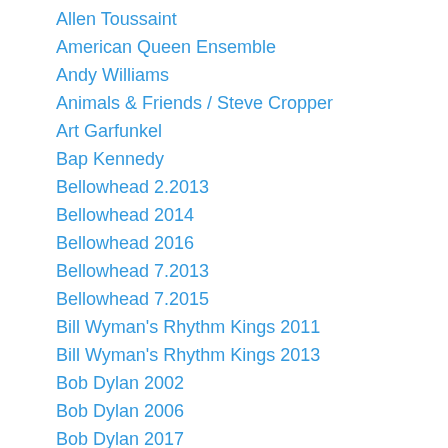Allen Toussaint
American Queen Ensemble
Andy Williams
Animals & Friends / Steve Cropper
Art Garfunkel
Bap Kennedy
Bellowhead 2.2013
Bellowhead 2014
Bellowhead 2016
Bellowhead 7.2013
Bellowhead 7.2015
Bill Wyman's Rhythm Kings 2011
Bill Wyman's Rhythm Kings 2013
Bob Dylan 2002
Bob Dylan 2006
Bob Dylan 2017
Bonnie Raitt, Hyde Park 2018
Brian Wilson
Carole King – Hyde Park
Chris Rea